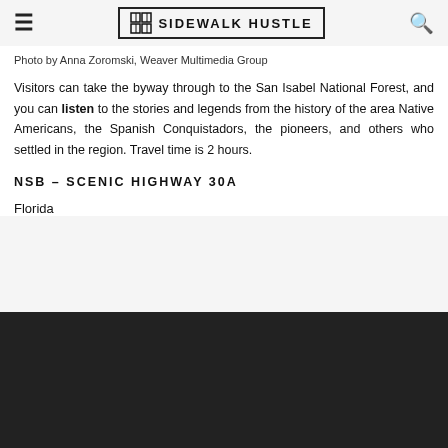☰  SIDEWALK HUSTLE  🔍
Photo by Anna Zoromski, Weaver Multimedia Group
Visitors can take the byway through to the San Isabel National Forest, and you can listen to the stories and legends from the history of the area Native Americans, the Spanish Conquistadors, the pioneers, and others who settled in the region. Travel time is 2 hours.
NSB – SCENIC HIGHWAY 30A
Florida
[Figure (photo): Dark image area at the bottom of the page, appears to be a photo placeholder or partially loaded image with very dark/black tones]